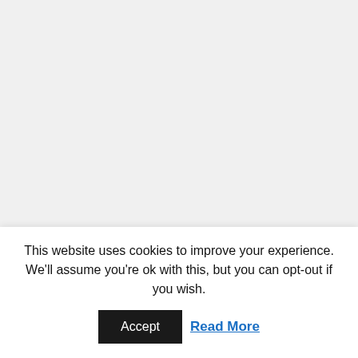ACCR...
This website uses cookies to improve your experience. We'll assume you're ok with this, but you can opt-out if you wish.
Accept
Read More